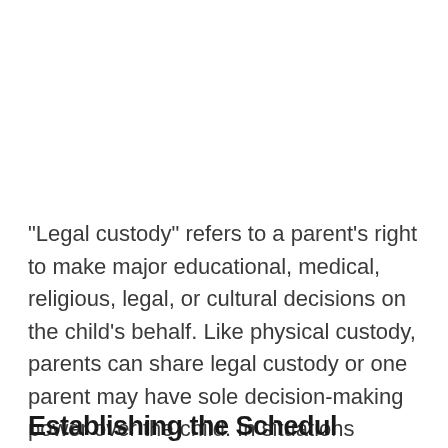"Legal custody" refers to a parent's right to make major educational, medical, religious, legal, or cultural decisions on the child's behalf. Like physical custody, parents can share legal custody or one parent may have sole decision-making power over the child. In situations where parents share legal custody, the custodial parent will still have the final say on decisions where the parents can't agree.
Establishing the Schedule